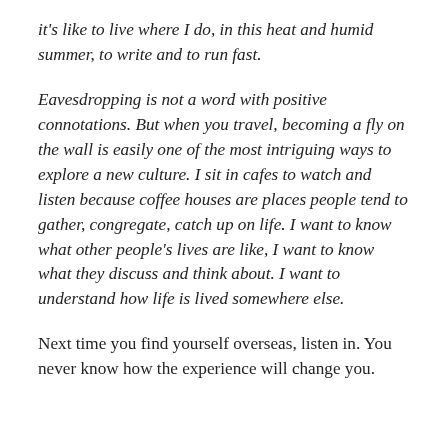it's like to live where I do, in this heat and humid summer, to write and to run fast.
Eavesdropping is not a word with positive connotations. But when you travel, becoming a fly on the wall is easily one of the most intriguing ways to explore a new culture. I sit in cafes to watch and listen because coffee houses are places people tend to gather, congregate, catch up on life. I want to know what other people's lives are like, I want to know what they discuss and think about. I want to understand how life is lived somewhere else.
Next time you find yourself overseas, listen in. You never know how the experience will change you.